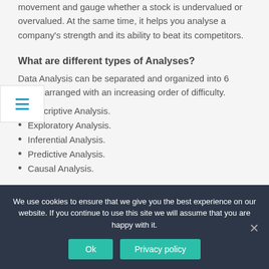movement and gauge whether a stock is undervalued or overvalued. At the same time, it helps you analyse a company's strength and its ability to beat its competitors.
What are different types of Analyses?
Data Analysis can be separated and organized into 6 types, arranged with an increasing order of difficulty.
Descriptive Analysis.
Exploratory Analysis.
Inferential Analysis.
Predictive Analysis.
Causal Analysis.
We use cookies to ensure that we give you the best experience on our website. If you continue to use this site we will assume that you are happy with it.